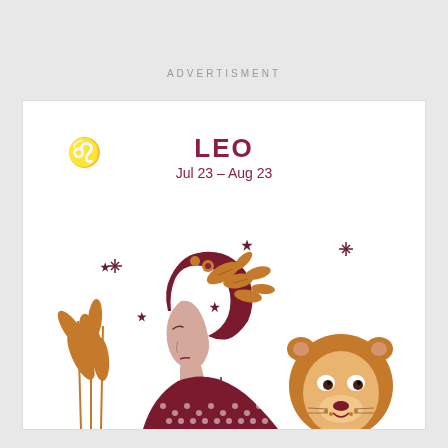ADVERTISMENT
[Figure (illustration): Leo zodiac illustration featuring a woman's profile with dark red hair adorned with golden/orange tropical leaves and flowers, golden plant fronds on the left, sparkle/star decorations, and a cartoon lion's face on the right. Woman wears a dark red polka dot garment. White background. Leo symbol (♌) in top left. Title 'LEO' and dates 'Jul 23 – Aug 23' at top center.]